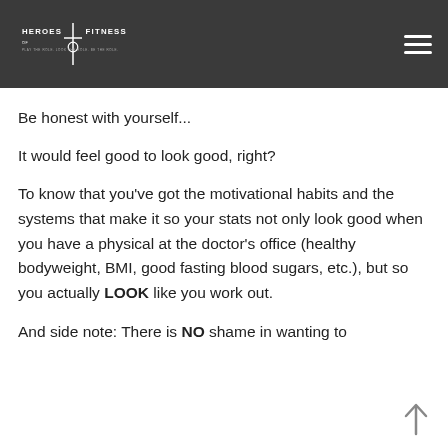[Figure (logo): Heroes of Fitness logo on dark grey header background with hamburger menu icon on the right]
Be honest with yourself...
It would feel good to look good, right?
To know that you’ve got the motivational habits and the systems that make it so your stats not only look good when you have a physical at the doctor’s office (healthy bodyweight, BMI, good fasting blood sugars, etc.), but so you actually LOOK like you work out.
And side note: There is NO shame in wanting to